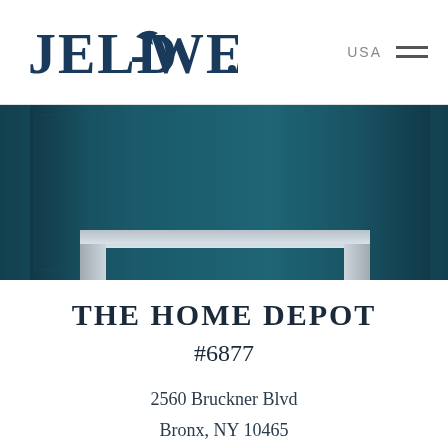[Figure (logo): JELD-WEN logo in dark navy blue serif font with registered trademark dot]
USA ≡
[Figure (photo): Dark teal/blue-green background hero image showing door panels, with a door frame overlay at the bottom]
THE HOME DEPOT
#6877
2560 Bruckner Blvd
Bronx, NY 10465